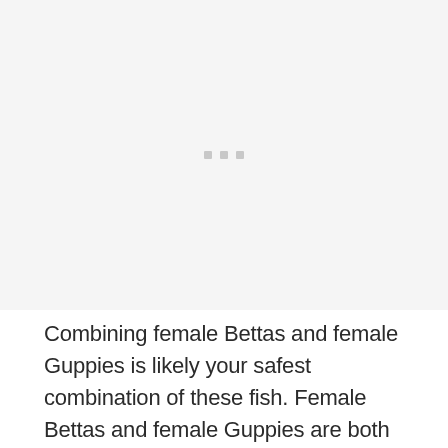[Figure (other): A large image placeholder area with three small gray squares in the center, indicating a loading or missing image.]
Combining female Bettas and female Guppies is likely your safest combination of these fish. Female Bettas and female Guppies are both relatively laid-back fish that are unlikely to show aggression unprovoked. However, Guppies are fast swimmers